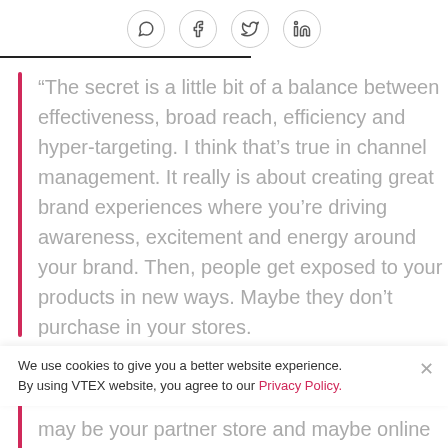[Social share icons: WhatsApp, Facebook, Twitter, LinkedIn]
“The secret is a little bit of a balance between effectiveness, broad reach, efficiency and hyper-targeting. I think that’s true in channel management. It really is about creating great brand experiences where you’re driving awareness, excitement and energy around your brand. Then, people get exposed to your products in new ways. Maybe they don’t purchase in your stores.
We use cookies to give you a better website experience. By using VTEX website, you agree to our Privacy Policy.
may be your partner store and maybe online